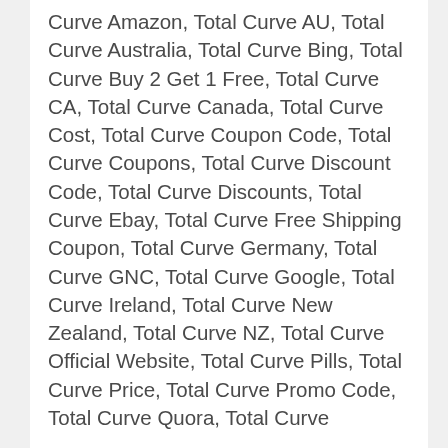Curve Amazon, Total Curve AU, Total Curve Australia, Total Curve Bing, Total Curve Buy 2 Get 1 Free, Total Curve CA, Total Curve Canada, Total Curve Cost, Total Curve Coupon Code, Total Curve Coupons, Total Curve Discount Code, Total Curve Discounts, Total Curve Ebay, Total Curve Free Shipping Coupon, Total Curve Germany, Total Curve GNC, Total Curve Google, Total Curve Ireland, Total Curve New Zealand, Total Curve NZ, Total Curve Official Website, Total Curve Pills, Total Curve Price, Total Curve Promo Code, Total Curve Quora, Total Curve